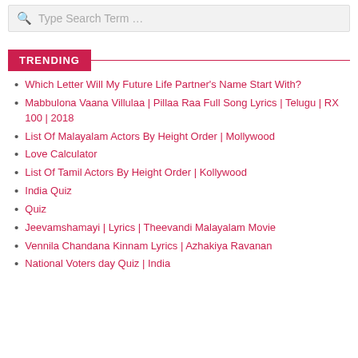Type Search Term …
TRENDING
Which Letter Will My Future Life Partner's Name Start With?
Mabbulona Vaana Villulaa | Pillaa Raa Full Song Lyrics | Telugu | RX 100 | 2018
List Of Malayalam Actors By Height Order | Mollywood
Love Calculator
List Of Tamil Actors By Height Order | Kollywood
India Quiz
Quiz
Jeevamshamayi | Lyrics | Theevandi Malayalam Movie
Vennila Chandana Kinnam Lyrics | Azhakiya Ravanan
National Voters day Quiz | India